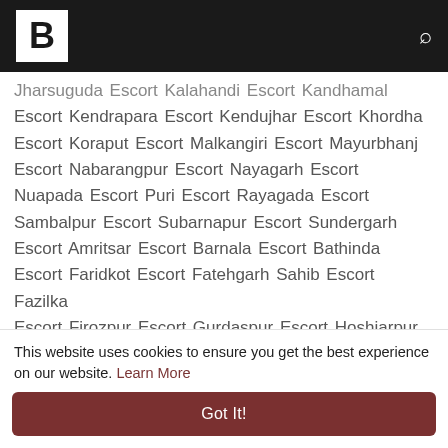B [logo] [search icon]
Jharsuguda Escort Kalahandi Escort Kandhamal Escort Kendrapara Escort Kendujhar Escort Khordha Escort Koraput Escort Malkangiri Escort Mayurbhanj Escort Nabarangpur Escort Nayagarh Escort Nuapada Escort Puri Escort Rayagada Escort Sambalpur Escort Subarnapur Escort Sundergarh Escort Amritsar Escort Barnala Escort Bathinda Escort Faridkot Escort Fatehgarh Sahib Escort Fazilka Escort Firozpur Escort Gurdaspur Escort Hoshiarpur Escort Jalandhar Escort Kapurthala Escort Ludhiana Escort Mansa Escort Moga Escort Mohali Escort Multan Escort Pathankot Escort Patiala Escort…
This website uses cookies to ensure you get the best experience on our website. Learn More
Got It!